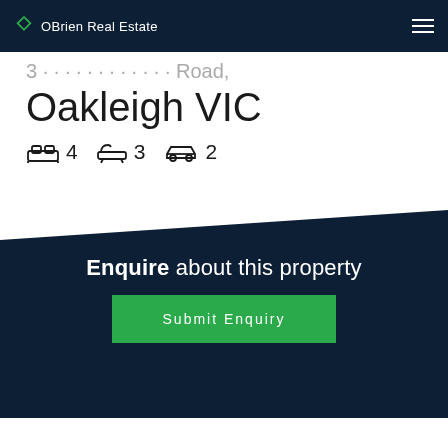OBrien Real Estate
Oakleigh VIC
4 bedrooms, 3 bathrooms, 2 car spaces
Enquire about this property
Submit Enquiry
Spacious, Stylish Executive Living